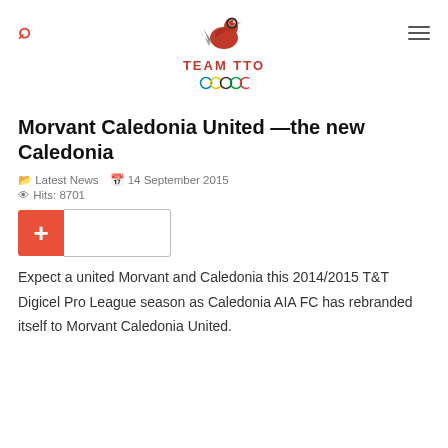[Figure (logo): Team TTO Olympic logo with bird and Olympic rings]
Morvant Caledonia United —the new Caledonia
Latest News   14 September 2015
Hits: 8701
[Figure (other): Orange plus button with input field]
Expect a united Morvant and Caledonia this 2014/2015 T&T Digicel Pro League season as Caledonia AIA FC has rebranded itself to Morvant Caledonia United.